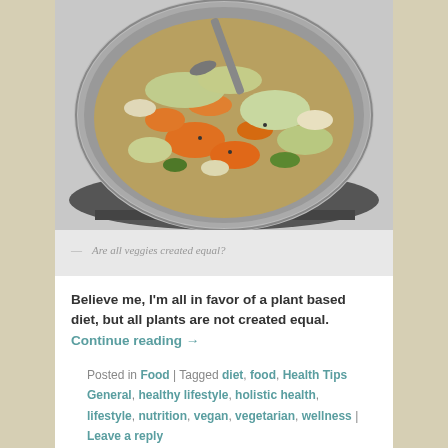[Figure (photo): A stainless steel wok or pan filled with stir-fried mixed vegetables including carrots, cabbage, zucchini, and other chopped vegetables, sitting on a stove burner. A metal spatula is visible in the pan.]
— Are all veggies created equal?
Believe me, I'm all in favor of a plant based diet, but all plants are not created equal. Continue reading →
Posted in Food | Tagged diet, food, Health Tips General, healthy lifestyle, holistic health, lifestyle, nutrition, vegan, vegetarian, wellness | Leave a reply